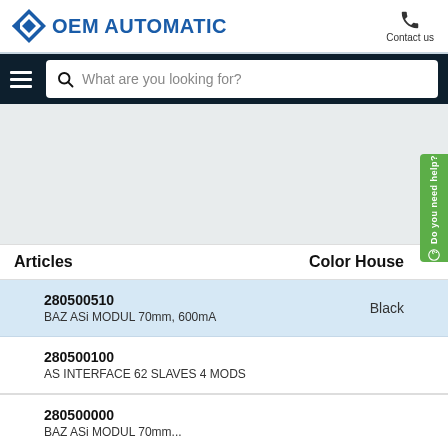OEM AUTOMATIC | Contact us
What are you looking for?
Articles    Color House
| Articles | Color House |
| --- | --- |
| 280500510
BAZ ASi MODUL 70mm, 600mA | Black |
| 280500100
AS INTERFACE 62 SLAVES 4 MODS |  |
| 280500000
BAZ ASi MODUL 70mm... |  |